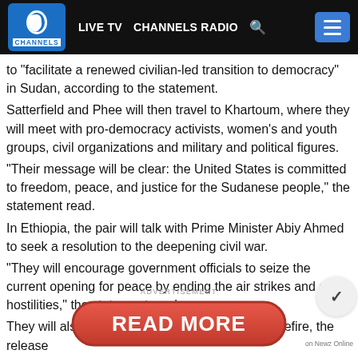LIVE TV  CHANNELS RADIO
to “facilitate a renewed civilian-led transition to democracy” in Sudan, according to the statement.
Satterfield and Phee will then travel to Khartoum, where they will meet with pro-democracy activists, women’s and youth groups, civil organizations and military and political figures.
“Their message will be clear: the United States is committed to freedom, peace, and justice for the Sudanese people,” the statement read.
In Ethiopia, the pair will talk with Prime Minister Abiy Ahmed to seek a resolution to the deepening civil war.
“They will encourage government officials to seize the current opening for peace by ending the air strikes and other hostilities,” the statement read.
They will also ask for the establishment of a ceasefire, the release of political prisoners and the restoration of humanitarian access.
ADVERTISEMENT
[Figure (other): Red oval READ MORE button]